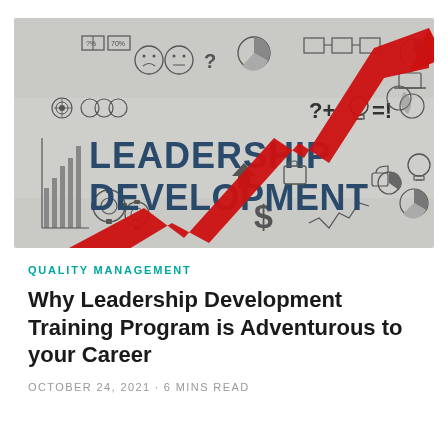[Figure (illustration): Leadership Development banner image showing bold text 'LEADERSHIP DEVELOPMENT' on a light grey/white sketched background with various business icons (smiley faces, question marks, bar chart, pie chart, gears, dollar sign, lightbulb, etc.) and a prominent rising red zigzag arrow pointing upward to the upper right corner.]
QUALITY MANAGEMENT
Why Leadership Development Training Program is Adventurous to your Career
OCTOBER 24, 2021 · 6 MINS READ